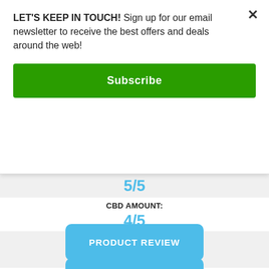LET'S KEEP IN TOUCH! Sign up for our email newsletter to receive the best offers and deals around the web!
Subscribe
5/5
CBD AMOUNT:
4/5
TASTE:
5/5
ADV ECS SUPPORT
3/5
PRODUCT REVIEW
COMPANY REVIEW